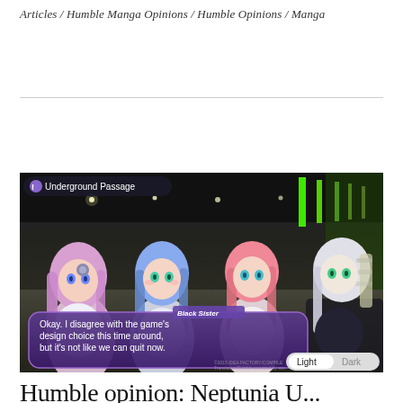Articles / Humble Manga Opinions / Humble Opinions / Manga
[Figure (screenshot): Anime-style video game screenshot showing four female characters in an underground passage. A dialogue box at the bottom reads: 'Okay. I disagree with the game's design choice this time around, but it's not like we can quit now.' Speaker label shows 'Black Sister'. UI shows 'Underground Passage' location label. Light/Dark toggle buttons visible in bottom-right corner.]
Humble opinion: Neptunia U...